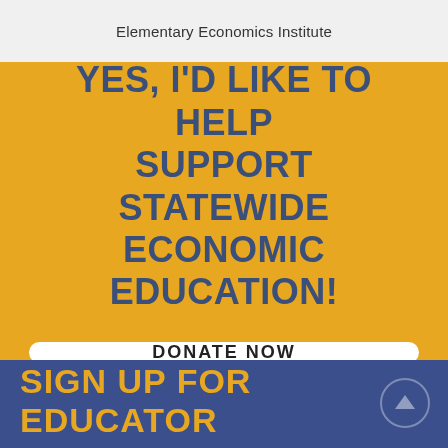Elementary Economics Institute
YES, I'D LIKE TO HELP SUPPORT STATEWIDE ECONOMIC EDUCATION!
DONATE NOW
SIGN UP FOR EDUCATOR